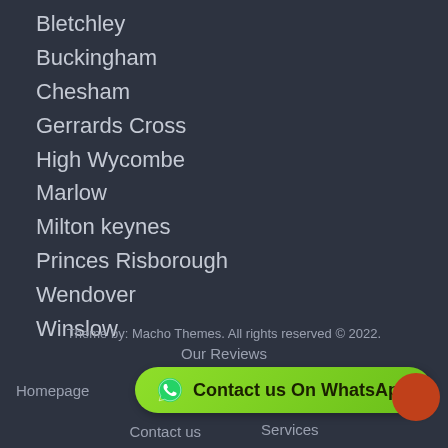Bletchley
Buckingham
Chesham
Gerrards Cross
High Wycombe
Marlow
Milton keynes
Princes Risborough
Wendover
Winslow
Theme by: Macho Themes. All rights reserved © 2022.
Our Reviews
Homepage   Contact us   Services